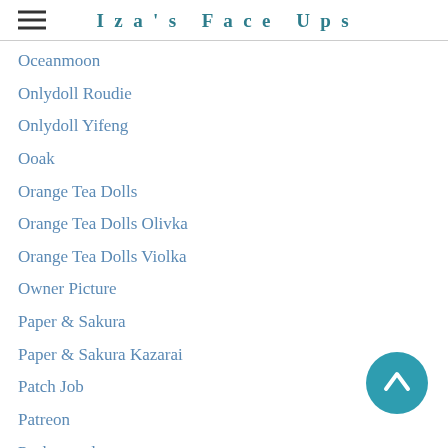Iza's Face Ups
Oceanmoon
Onlydoll Roudie
Onlydoll Yifeng
Ooak
Orange Tea Dolls
Orange Tea Dolls Olivka
Orange Tea Dolls Violka
Owner Picture
Paper & Sakura
Paper & Sakura Kazarai
Patch Job
Patreon
Peakswood
Peakswood Romantic Lady Bee
Peakswoods Rabbit Goon
Pedicure
Personal Collection
Personal Best